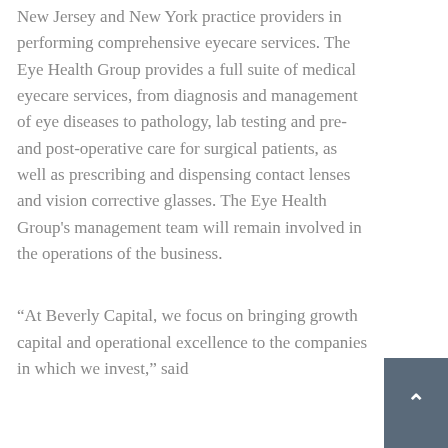New Jersey and New York practice providers in performing comprehensive eyecare services. The Eye Health Group provides a full suite of medical eyecare services, from diagnosis and management of eye diseases to pathology, lab testing and pre- and post-operative care for surgical patients, as well as prescribing and dispensing contact lenses and vision corrective glasses. The Eye Health Group's management team will remain involved in the operations of the business.
“At Beverly Capital, we focus on bringing growth capital and operational excellence to the companies in which we invest,” said